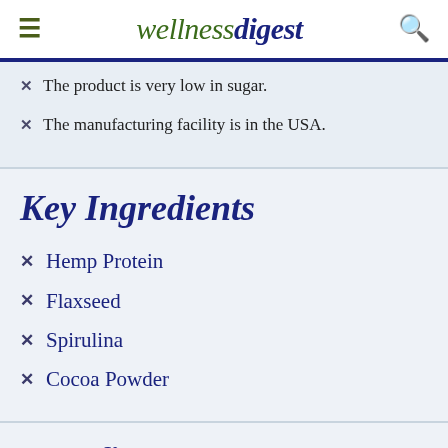wellnessdigest
The product is very low in sugar.
The manufacturing facility is in the USA.
Key Ingredients
Hemp Protein
Flaxseed
Spirulina
Cocoa Powder
Benefits